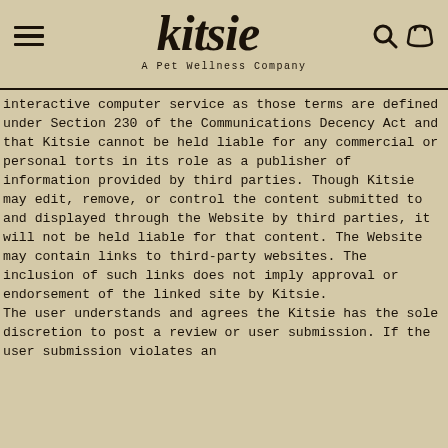kitsie — A Pet Wellness Company
interactive computer service as those terms are defined under Section 230 of the Communications Decency Act and that Kitsie cannot be held liable for any commercial or personal torts in its role as a publisher of information provided by third parties. Though Kitsie may edit, remove, or control the content submitted to and displayed through the Website by third parties, it will not be held liable for that content. The Website may contain links to third-party websites. The inclusion of such links does not imply approval or endorsement of the linked site by Kitsie.
The user understands and agrees the Kitsie has the sole discretion to post a review or user submission. If the user submission violates an